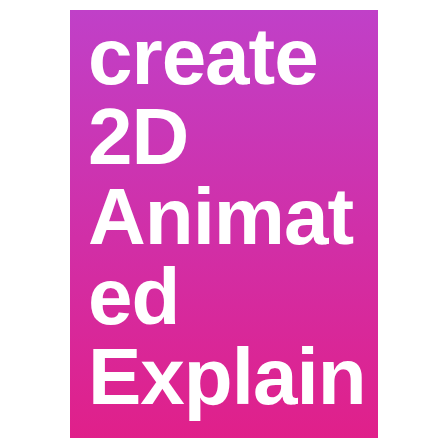[Figure (illustration): A bold gradient background (purple to hot pink, top to bottom) with large white bold text reading 'create 2D Animated Explainer' arranged vertically, word-wrapped across multiple lines.]
create 2D Animated Explainer